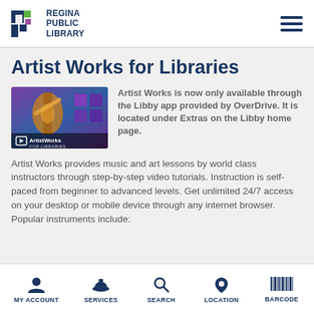[Figure (logo): Regina Public Library logo with stylized L-shaped icon in blue, green, and purple, with text REGINA PUBLIC LIBRARY in dark blue]
Artist Works for Libraries
[Figure (screenshot): ArtistWorks for Libraries thumbnail image showing violin/music with purple and blue colors]
Artist Works is now only available through the Libby app provided by OverDrive. It is located under Extras on the Libby home page.
Artist Works provides music and art lessons by world class instructors through step-by-step video tutorials. Instruction is self-paced from beginner to advanced levels. Get unlimited 24/7 access on your desktop or mobile device through any internet browser. Popular instruments include:
MY ACCOUNT  SERVICES  SEARCH  LOCATION  BARCODE